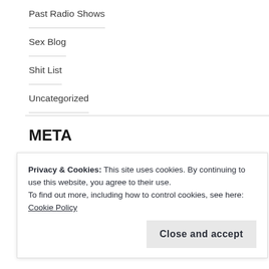Past Radio Shows
Sex Blog
Shit List
Uncategorized
META
Register
Log in
Entries feed
Privacy & Cookies: This site uses cookies. By continuing to use this website, you agree to their use.
To find out more, including how to control cookies, see here: Cookie Policy
Close and accept